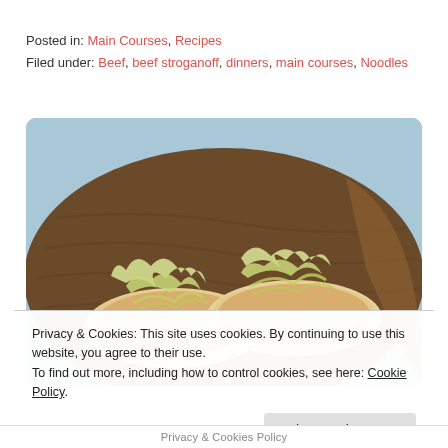Posted in: Main Courses, Recipes
Filed under: Beef, beef stroganoff, dinners, main courses, Noodles
[Figure (photo): Two open-faced sandwiches or flatbreads topped with meat sauce and shredded cabbage/lettuce, served on a wooden board.]
Privacy & Cookies: This site uses cookies. By continuing to use this website, you agree to their use.
To find out more, including how to control cookies, see here: Cookie Policy
Close and accept
Privacy & Cookies Policy